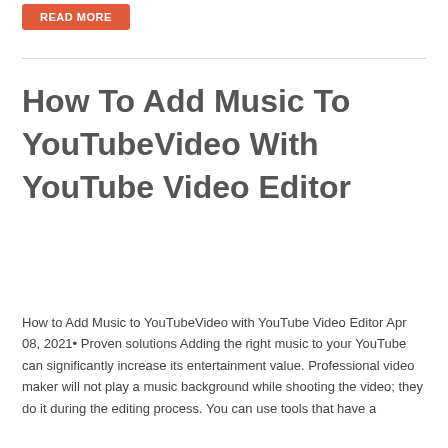Read more
How To Add Music To YouTubeVideo With YouTube Video Editor
How to Add Music to YouTubeVideo with YouTube Video Editor Apr 08, 2021• Proven solutions Adding the right music to your YouTube can significantly increase its entertainment value. Professional video maker will not play a music background while shooting the video; they do it during the editing process. You can use tools that have a